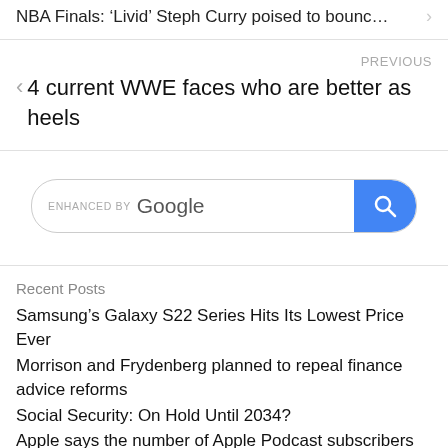NBA Finals: 'Livid' Steph Curry poised to bounc…
PREVIOUS
4 current WWE faces who are better as heels
[Figure (screenshot): Google search bar with 'ENHANCED BY Google' label and blue search button with magnifying glass icon]
Recent Posts
Samsung's Galaxy S22 Series Hits Its Lowest Price Ever
Morrison and Frydenberg planned to repeal finance advice reforms
Social Security: On Hold Until 2034?
Apple says the number of Apple Podcast subscribers grew by 300%+ since June 2021 and 25%+ of the top 100 shows in its